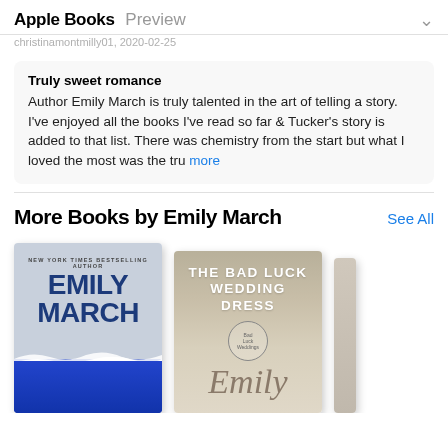Apple Books Preview
christinamontmilly01, 2020-02-25
Truly sweet romance
Author Emily March is truly talented in the art of telling a story. I've enjoyed all the books I've read so far & Tucker's story is added to that list. There was chemistry from the start but what I loved the most was the tru more
More Books by Emily March
[Figure (illustration): Two book covers: an Emily March novel with blue ocean design, and The Bad Luck Wedding Dress by Emily March with tan/cream cover, plus a partial third cover on the right.]